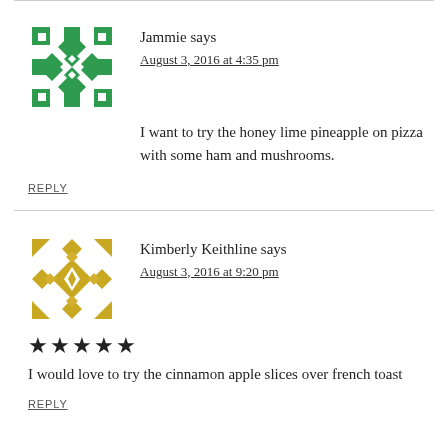Jammie says
August 3, 2016 at 4:35 pm
I want to try the honey lime pineapple on pizza with some ham and mushrooms.
REPLY
Kimberly Keithline says
August 3, 2016 at 9:20 pm
★★★★★
I would love to try the cinnamon apple slices over french toast
REPLY